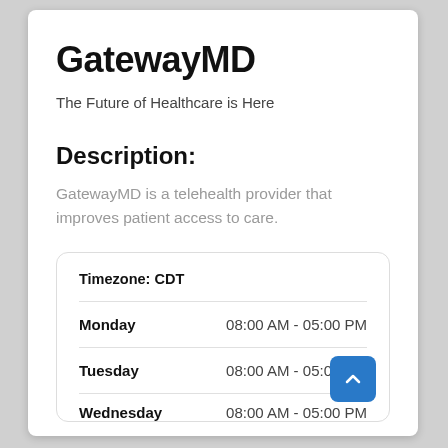GatewayMD
The Future of Healthcare is Here
Description:
GatewayMD is a telehealth provider that improves patient access to care.
| Day | Hours |
| --- | --- |
| Timezone: CDT |  |
| Monday | 08:00 AM - 05:00 PM |
| Tuesday | 08:00 AM - 05:00 PM |
| Wednesday | 08:00 AM - 05:00 PM |